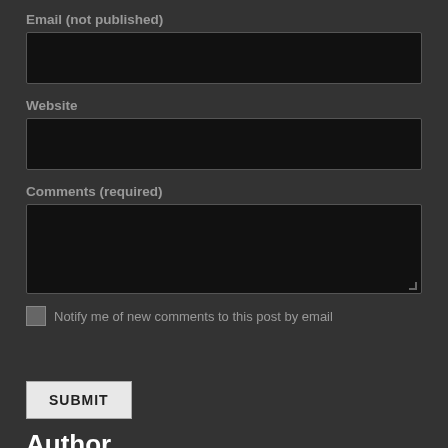Email (not published)
Website
Comments (required)
Notify me of new comments to this post by email
SUBMIT
Author
I am Jenny (when I was little my dad always called me Jenny Wren)